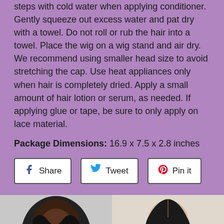steps with cold water when applying conditioner. Gently squeeze out excess water and pat dry with a towel. Do not roll or rub the hair into a towel. Place the wig on a wig stand and air dry. We recommend using smaller head size to avoid stretching the cap. Use heat appliances only when hair is completely dried. Apply a small amount of hair lotion or serum, as needed. If applying glue or tape, be sure to only apply on lace material.
Package Dimensions: 16.9 x 7.5 x 2.8 inches
[Figure (screenshot): Social sharing buttons: Share (Facebook), Tweet (Twitter), Pin it (Pinterest)]
[Figure (photo): Two wig product photos side by side showing black wavy wigs, one worn on a person and one on a mannequin head]